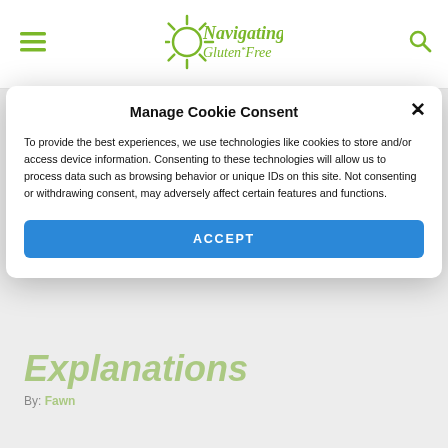Navigating Gluten Free — Navigation bar with menu and search icons
Manage Cookie Consent
To provide the best experiences, we use technologies like cookies to store and/or access device information. Consenting to these technologies will allow us to process data such as browsing behavior or unique IDs on this site. Not consenting or withdrawing consent, may adversely affect certain features and functions.
ACCEPT
Explanations
By: Fawn